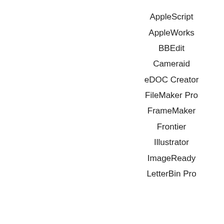AppleScript
AppleWorks
BBEdit
Cameraid
eDOC Creator
FileMaker Pro
FrameMaker
Frontier
Illustrator
ImageReady
LetterBin Pro